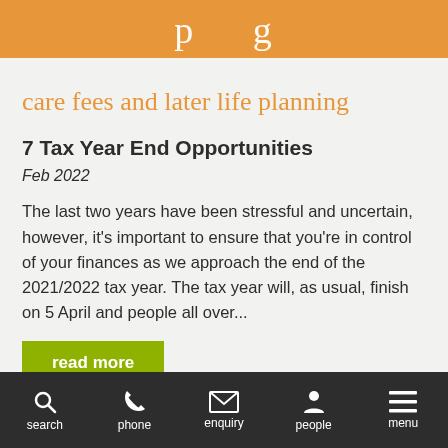p g
care fees and later life planning
7 Tax Year End Opportunities
Feb 2022
The last two years have been stressful and uncertain, however, it's important to ensure that you're in control of your finances as we approach the end of the 2021/2022 tax year. The tax year will, as usual, finish on 5 April and people all over...
read more
search   phone   enquiry   people   menu